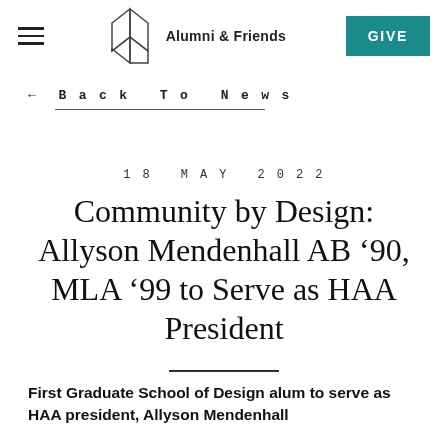Alumni & Friends | GIVE
← Back To News
18 MAY 2022
Community by Design: Allyson Mendenhall AB '90, MLA '99 to Serve as HAA President
First Graduate School of Design alum to serve as HAA president, Allyson Mendenhall is committed to creating inclusive design